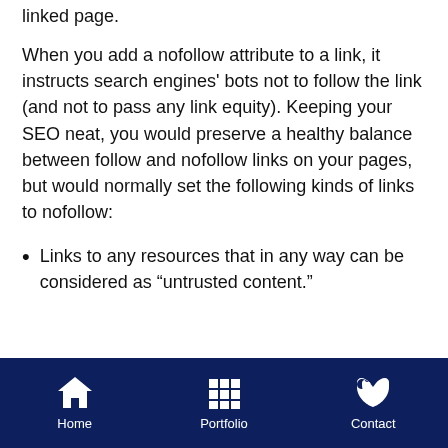linked page.
When you add a nofollow attribute to a link, it instructs search engines' bots not to follow the link (and not to pass any link equity). Keeping your SEO neat, you would preserve a healthy balance between follow and nofollow links on your pages, but would normally set the following kinds of links to nofollow:
Links to any resources that in any way can be considered as “untrusted content.”
Home | Portfolio | Contact